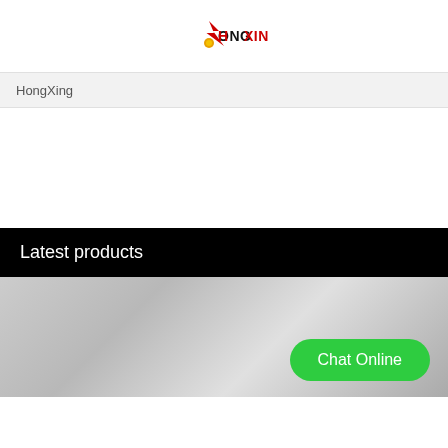[Figure (logo): HongXing logo: red stylized bird/lightning bolt icon with text HONG XING in black and red]
HongXing
Latest products
[Figure (photo): Gradient silver/grey metallic surface product image area with Chat Online green button overlay]
Chat Online